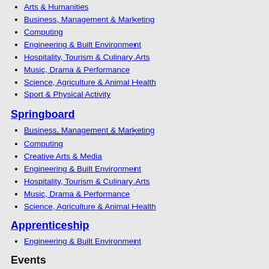Arts & Humanities
Business, Management & Marketing
Computing
Engineering & Built Environment
Hospitality, Tourism & Culinary Arts
Music, Drama & Performance
Science, Agriculture & Animal Health
Sport & Physical Activity
Springboard
Business, Management & Marketing
Computing
Creative Arts & Media
Engineering & Built Environment
Hospitality, Tourism & Culinary Arts
Music, Drama & Performance
Science, Agriculture & Animal Health
Apprenticeship
Engineering & Built Environment
Events